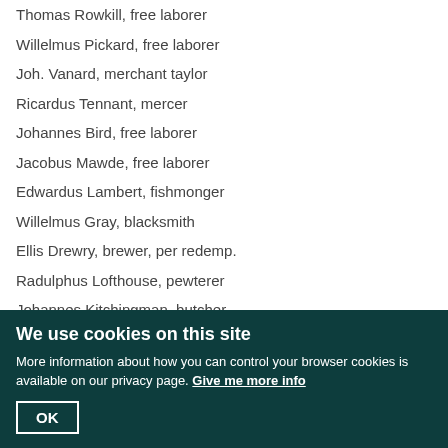Thomas Rowkill, free laborer
Willelmus Pickard, free laborer
Joh. Vanard, merchant taylor
Ricardus Tennant, mercer
Johannes Bird, free laborer
Jacobus Mawde, free laborer
Edwardus Lambert, fishmonger
Willelmus Gray, blacksmith
Ellis Drewry, brewer, per redemp.
Radulphus Lofthouse, pewterer
Johannes Kitchingman, butcher
Thomas Perrott, taylor
Henricus Lawson, free laborer
We use cookies on this site
More information about how you can control your browser cookies is available on our privacy page. Give me more info
OK